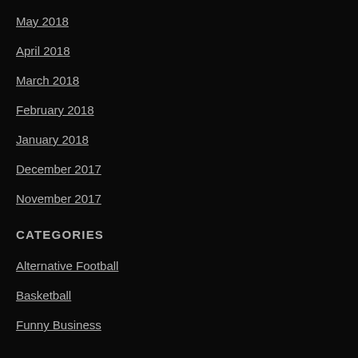May 2018
April 2018
March 2018
February 2018
January 2018
December 2017
November 2017
CATEGORIES
Alternative Football
Basketball
Funny Business